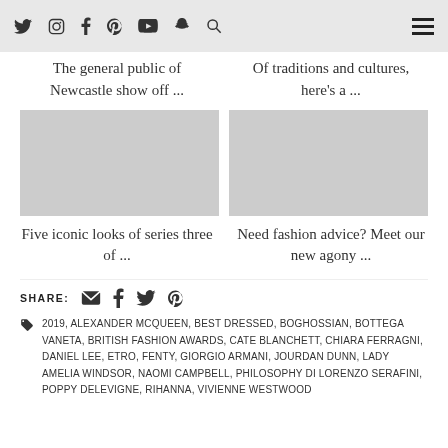Social and navigation icons header
The general public of Newcastle show off ...
Of traditions and cultures, here's a ...
Five iconic looks of series three of ...
Need fashion advice? Meet our new agony ...
SHARE:
2019, ALEXANDER MCQUEEN, BEST DRESSED, BOGHOSSIAN, BOTTEGA VANETA, BRITISH FASHION AWARDS, CATE BLANCHETT, CHIARA FERRAGNI, DANIEL LEE, ETRO, FENTY, GIORGIO ARMANI, JOURDAN DUNN, LADY AMELIA WINDSOR, NAOMI CAMPBELL, PHILOSOPHY DI LORENZO SERAFINI, POPPY DELEVIGNE, RIHANNA, VIVIENNE WESTWOOD